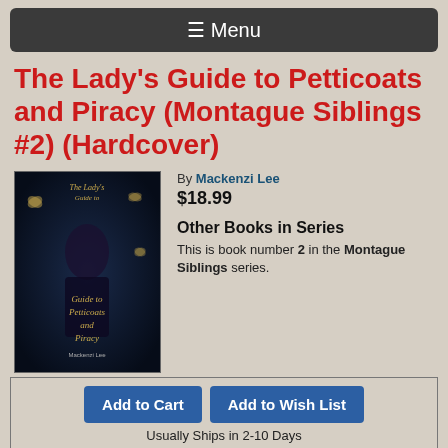☰ Menu
The Lady's Guide to Petticoats and Piracy (Montague Siblings #2) (Hardcover)
[Figure (illustration): Book cover of The Lady's Guide to Petticoats and Piracy showing a woman in dark attire with golden lettering on a dark background]
By Mackenzi Lee
$18.99
Other Books in Series
This is book number 2 in the Montague Siblings series.
Add to Cart   Add to Wish List   Usually Ships in 2-10 Days
#1: The Gentleman's Guide to Vice and Virtue (Montague Siblings #1) (Hardcover): $18.99